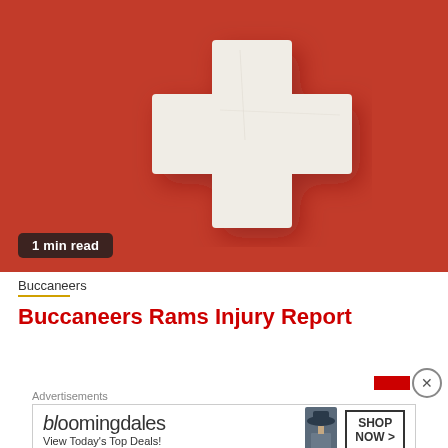[Figure (photo): A white medical cross / first aid cross on a red background, photographed close-up. A '1 min read' badge appears in the lower left corner of the image.]
Buccaneers
Buccaneers Rams Injury Report
Advertisements
[Figure (other): Bloomingdale's advertisement banner. Shows 'bloomingdales' logo in stylized font, text 'View Today's Top Deals!', image of woman in hat, and 'SHOP NOW >' button.]